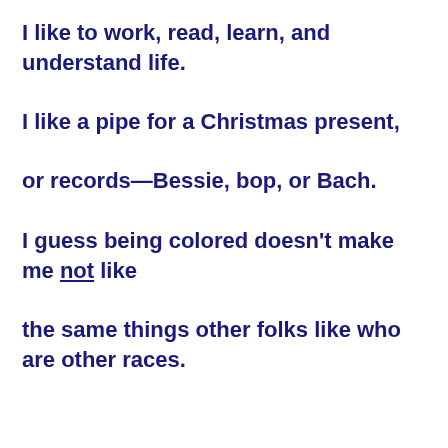I like to work, read, learn, and understand life.

I like a pipe for a Christmas present,

or records—Bessie, bop, or Bach.

I guess being colored doesn't make me not like

the same things other folks like who are other races.